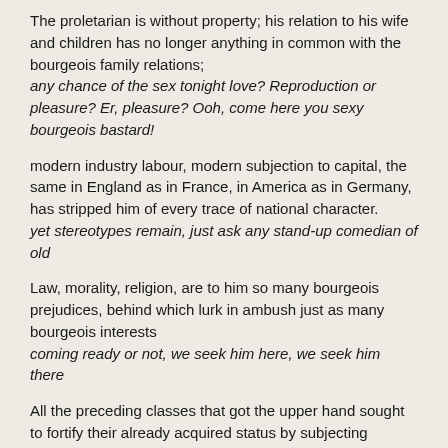The proletarian is without property; his relation to his wife and children has no longer anything in common with the bourgeois family relations; any chance of the sex tonight love? Reproduction or pleasure? Er, pleasure? Ooh, come here you sexy bourgeois bastard!
modern industry labour, modern subjection to capital, the same in England as in France, in America as in Germany, has stripped him of every trace of national character. yet stereotypes remain, just ask any stand-up comedian of old
Law, morality, religion, are to him so many bourgeois prejudices, behind which lurk in ambush just as many bourgeois interests coming ready or not, we seek him here, we seek him there
All the preceding classes that got the upper hand sought to fortify their already acquired status by subjecting society at large to their conditions of appropriation. and you can't exactly fortify something that is nothing – nought plus nought still equals nowt